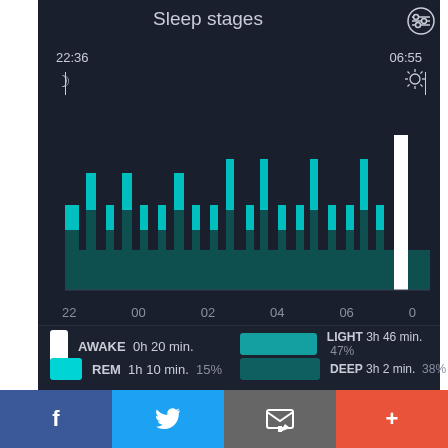Sleep stages
[Figure (bar-chart): Sleep stages chart showing sleep cycles from 22:36 to 06:55 with REM (bright teal), Light (medium teal), and Deep (dark teal) sleep stages over time]
AWAKE  0h 20 min.
REM  1h 10 min.  15%
LIGHT  3h 46 min.  47%
DEEP  3h 2 min.  38%